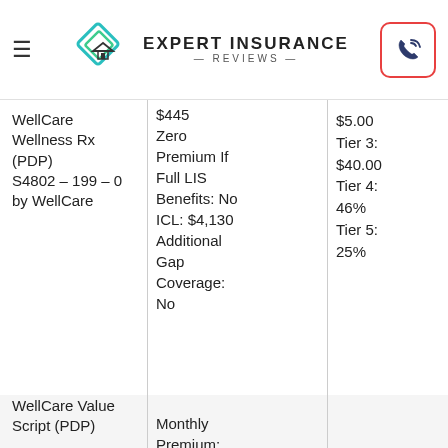Expert Insurance Reviews
| Plan | Details | Cost Sharing |
| --- | --- | --- |
| WellCare Wellness Rx (PDP) S4802 – 199 – 0 by WellCare | $445 Zero Premium If Full LIS Benefits: No ICL: $4,130 Additional Gap Coverage: No | Tier 1: $5.00 Tier 3: $40.00 Tier 4: 46% Tier 5: 25% |
| WellCare Value Script (PDP) | Monthly Premium: $18.70 Annual Deductable: $445 Zero | Tier 1: $0.00 Tier 2: $4.00 Tier 3: |